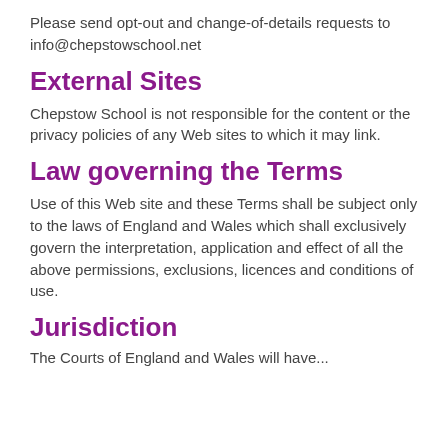Please send opt-out and change-of-details requests to info@chepstowschool.net
External Sites
Chepstow School is not responsible for the content or the privacy policies of any Web sites to which it may link.
Law governing the Terms
Use of this Web site and these Terms shall be subject only to the laws of England and Wales which shall exclusively govern the interpretation, application and effect of all the above permissions, exclusions, licences and conditions of use.
Jurisdiction
The Courts of England and Wales shall have...